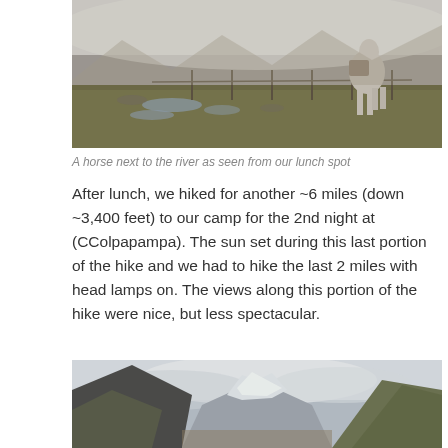[Figure (photo): A horse standing in a misty highland meadow next to a river, with fog-covered mountains in the background and a fence visible across the field.]
A horse next to the river as seen from our lunch spot
After lunch, we hiked for another ~6 miles (down ~3,400 feet) to our camp for the 2nd night at (CColpapampa). The sun set during this last portion of the hike and we had to hike the last 2 miles with head lamps on. The views along this portion of the hike were nice, but less spectacular.
[Figure (photo): A mountainous valley scene with snow-capped peaks visible through clouds in the center background, rocky green slopes on both sides, captured during a hike.]